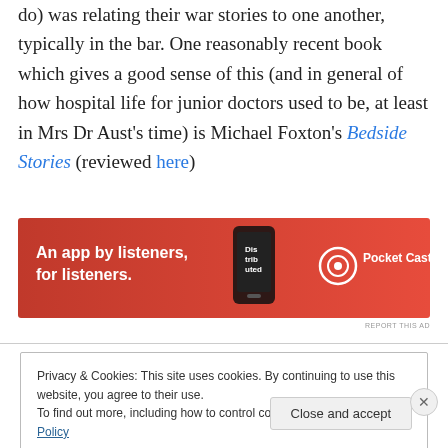do) was relating their war stories to one another, typically in the bar. One reasonably recent book which gives a good sense of this (and in general of how hospital life for junior doctors used to be, at least in Mrs Dr Aust's time) is Michael Foxton's Bedside Stories (reviewed here)
[Figure (screenshot): Red advertisement banner for Pocket Casts app: 'An app by listeners, for listeners.' with phone image and Pocket Casts logo]
REPORT THIS AD
Privacy & Cookies: This site uses cookies. By continuing to use this website, you agree to their use. To find out more, including how to control cookies, see here: Cookie Policy
Close and accept